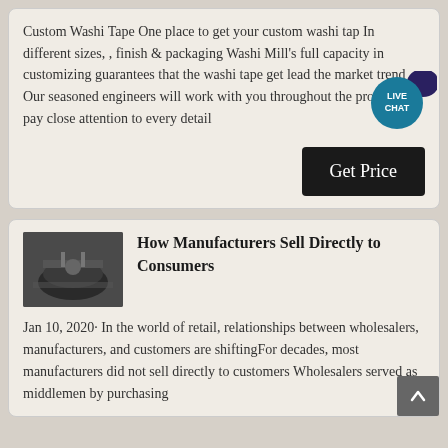Custom Washi Tape One place to get your custom washi tap In different sizes, , finish & packaging Washi Mill's full capacity in customizing guarantees that the washi tape get lead the market trend Our seasoned engineers will work with you throughout the process and pay close attention to every detail
[Figure (other): Live Chat speech bubble icon in teal/navy]
Get Price
[Figure (photo): Photo of manufacturing equipment, industrial machinery in dark tones]
How Manufacturers Sell Directly to Consumers
Jan 10, 2020· In the world of retail, relationships between wholesalers, manufacturers, and customers are shiftingFor decades, most manufacturers did not sell directly to customers Wholesalers served as middlemen by purchasing